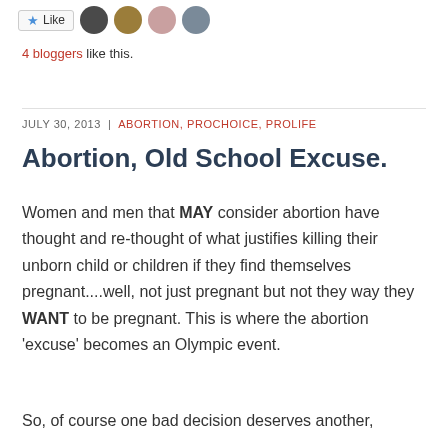[Figure (other): Like button with star icon and four blogger avatar thumbnails]
4 bloggers like this.
JULY 30, 2013  |  ABORTION, PROCHOICE, PROLIFE
Abortion, Old School Excuse.
Women and men that MAY consider abortion have thought and re-thought of what justifies killing their unborn child or children if they find themselves pregnant....well, not just pregnant but not they way they WANT to be pregnant. This is where the abortion ‘excuse’ becomes an Olympic event.
So, of course one bad decision deserves another,